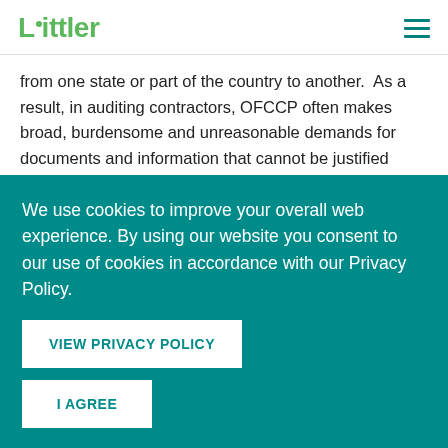Littler
from one state or part of the country to another.  As a result, in auditing contractors, OFCCP often makes broad, burdensome and unreasonable demands for documents and information that cannot be justified under applicable law and are inconsistent with the agency's own rules.  Similarly, the agency too often purports to find violations or discrimination under circumstances where neither the law nor the facts can reasonably support such a
We use cookies to improve your overall web experience. By using our website you consent to our use of cookies in accordance with our Privacy Policy.
VIEW PRIVACY POLICY
I AGREE